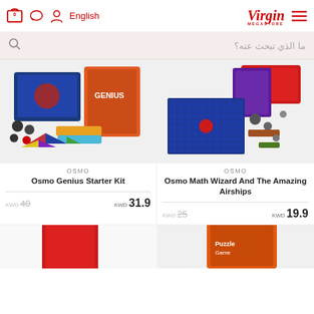Virgin Megastore - English - Cart (0)
ما الذي تبحث عنه؟
[Figure (photo): Osmo Genius Starter Kit product image showing tablet, tangram pieces, stackable colored trays, and game pieces]
[Figure (photo): Osmo Math Wizard And The Amazing Airships product image showing game board, box, and accessories]
OSMO
Osmo Genius Starter Kit
KWD 40  KWD 31.9
OSMO
Osmo Math Wizard And The Amazing Airships
KWD 25  KWD 19.9
[Figure (photo): Partial product image at bottom left - red product]
[Figure (photo): Partial product image at bottom right - colorful board game box]